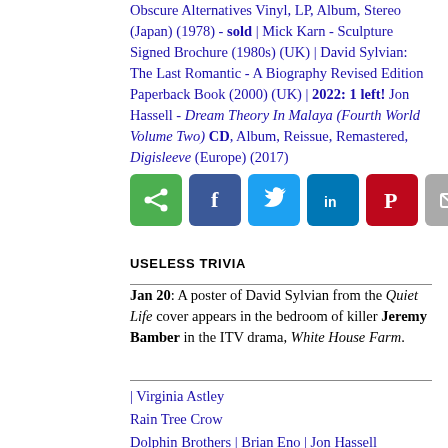Obscure Alternatives Vinyl, LP, Album, Stereo (Japan) (1978) - sold | Mick Karn - Sculpture Signed Brochure (1980s) (UK) | David Sylvian: The Last Romantic - A Biography Revised Edition Paperback Book (2000) (UK) | 2022: 1 left! Jon Hassell - Dream Theory In Malaya (Fourth World Volume Two) CD, Album, Reissue, Remastered, Digisleeve (Europe) (2017)
[Figure (infographic): Social sharing buttons: share (green), facebook (dark blue), twitter (light blue), linkedin (blue), pinterest (red), email (grey)]
USELESS TRIVIA
Jan 20: A poster of David Sylvian from the Quiet Life cover appears in the bedroom of killer Jeremy Bamber in the ITV drama, White House Farm.
| Virginia Astley
Rain Tree Crow
Dolphin Brothers | Brian Eno | Jon Hassell